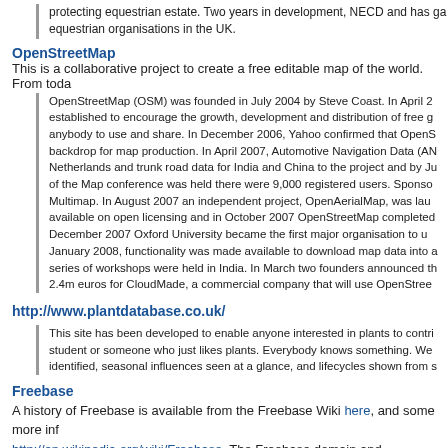protecting equestrian estate. Two years in development, NECD and has gained support from equestrian organisations in the UK.
OpenStreetMap
This is a collaborative project to create a free editable map of the world. From toda
OpenStreetMap (OSM) was founded in July 2004 by Steve Coast. In April 2 established to encourage the growth, development and distribution of free g anybody to use and share. In December 2006, Yahoo confirmed that OpenS backdrop for map production. In April 2007, Automotive Navigation Data (AN Netherlands and trunk road data for India and China to the project and by Ju of the Map conference was held there were 9,000 registered users. Sponso Multimap. In August 2007 an independent project, OpenAerialMap, was lau available on open licensing and in October 2007 OpenStreetMap completed December 2007 Oxford University became the first major organisation to u January 2008, functionality was made available to download map data into series of workshops were held in India. In March two founders announced t 2.4m euros for CloudMade, a commercial company that will use OpenStree
http://www.plantdatabase.co.uk/
This site has been developed to enable anyone interested in plants to contri student or someone who just likes plants. Everybody knows something. We identified, seasonal influences seen at a glance, and lifecycles shown from s
Freebase
A history of Freebase is available from the Freebase Wiki here, and some more inf http://en.wikipedia.org/wiki/Freebase. The Freebase domain and trademark are ow